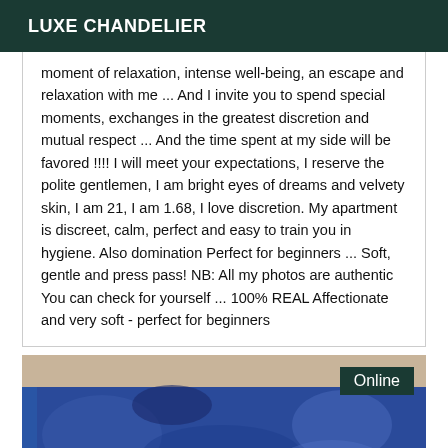LUXE CHANDELIER
moment of relaxation, intense well-being, an escape and relaxation with me ... And I invite you to spend special moments, exchanges in the greatest discretion and mutual respect ... And the time spent at my side will be favored !!!! I will meet your expectations, I reserve the polite gentlemen, I am bright eyes of dreams and velvety skin, I am 21, I am 1.68, I love discretion. My apartment is discreet, calm, perfect and easy to train you in hygiene. Also domination Perfect for beginners ... Soft, gentle and press pass! NB: All my photos are authentic You can check for yourself ... 100% REAL Affectionate and very soft - perfect for beginners
[Figure (photo): Photo of a person in a swimming pool with blue tiled edge, water visible, blonde hair partially visible at bottom. An 'Online' badge is shown in the top-right corner of the image.]